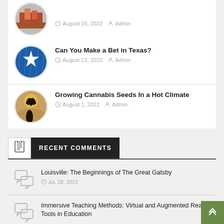Can You Make a Bet in Texas? — August 12, 2022  Admin
Growing Cannabis Seeds In a Hot Climate — August 1, 2022  Admin
RECENT COMMENTS
Louisville: The Beginnings of The Great Gatsby — Jul, 28, 2022
Immersive Teaching Methods: Virtual and Augmented Reality Tools in Education